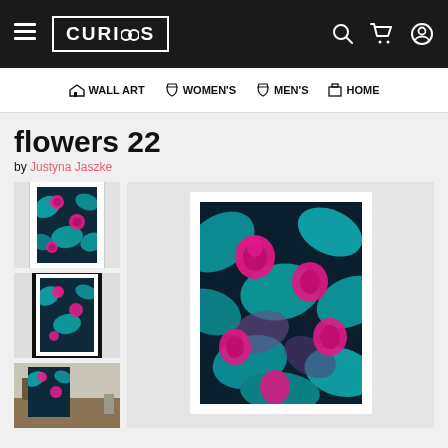CURIOOS — navigation header with logo, hamburger menu, search, cart, and account icons
WALL ART  WOMEN'S  MEN'S  HOME
flowers 22
by Justyna Jaszke
[Figure (photo): Product page showing 'flowers 22' artwork — tropical floral pattern with pink flowers and teal/cyan leaves on dark background. Three thumbnail previews on left (framed print, framed hanging, room scene, detail crop) and large main image on right showing the artwork in a white frame.]